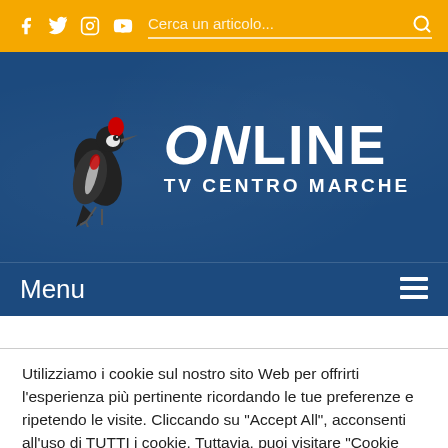f  twitter  instagram  youtube  Cerca un articolo...  🔍
[Figure (logo): TV Online - TV Centro Marche logo with woodpecker bird illustration on dark blue background]
Menu  ☰
Utilizziamo i cookie sul nostro sito Web per offrirti l'esperienza più pertinente ricordando le tue preferenze e ripetendo le visite. Cliccando su "Accept All", acconsenti all'uso di TUTTI i cookie. Tuttavia, puoi visitare "Cookie Settings" per fornire un consenso controllato.
Cookie Settings | Accept All